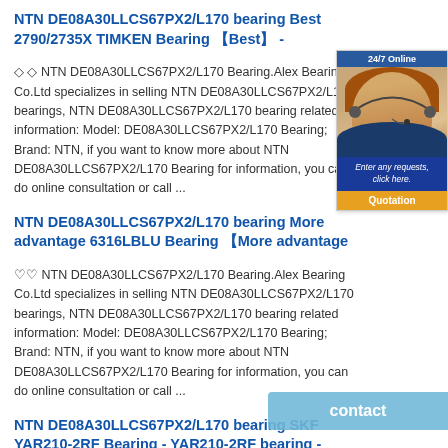NTN DE08A30LLCS67PX2/L170 bearing Best 2790/2735X TIMKEN Bearing 【Best】 -
◇◇ NTN DE08A30LLCS67PX2/L170 Bearing.Alex Bearing Co.Ltd specializes in selling NTN DE08A30LLCS67PX2/L170 bearings, NTN DE08A30LLCS67PX2/L170 bearing related information: Model: DE08A30LLCS67PX2/L170 Bearing; Brand: NTN, if you want to know more about NTN DE08A30LLCS67PX2/L170 Bearing for information, you can do online consultation or call ...
NTN DE08A30LLCS67PX2/L170 bearing More advantage 6316LBLU Bearing 【More advantage
♡♡ NTN DE08A30LLCS67PX2/L170 Bearing.Alex Bearing Co.Ltd specializes in selling NTN DE08A30LLCS67PX2/L170 bearings, NTN DE08A30LLCS67PX2/L170 bearing related information: Model: DE08A30LLCS67PX2/L170 Bearing; Brand: NTN, if you want to know more about NTN DE08A30LLCS67PX2/L170 Bearing for information, you can do online consultation or call ...
NTN DE08A30LLCS67PX2/L170 bearing SKF YAR210-2RF Bearing - YAR210-2RF bearing - Cheap
For information on selecting the appropriate bearing for a given application, and interpreting the data on this page, refer to Bearing selection process. Frequently viewed together. Insert bearings - YAR 210-2RF - skf.com 1) For
[Figure (other): 24/7 Online customer service chat widget with photo of female agent wearing headset, quotation button]